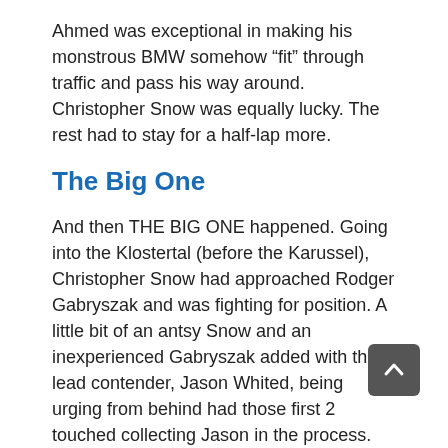Ahmed was exceptional in making his monstrous BMW somehow “fit” through traffic and pass his way around. Christopher Snow was equally lucky. The rest had to stay for a half-lap more.
The Big One
And then THE BIG ONE happened. Going into the Klostertal (before the Karussel), Christopher Snow had approached Rodger Gabryszak and was fighting for position. A little bit of an antsy Snow and an inexperienced Gabryszak added with the lead contender, Jason Whited, being urging from behind had those first 2 touched collecting Jason in the process.
Uyan and Angelidis followed and miraculously escaped the carnage by going straight through the